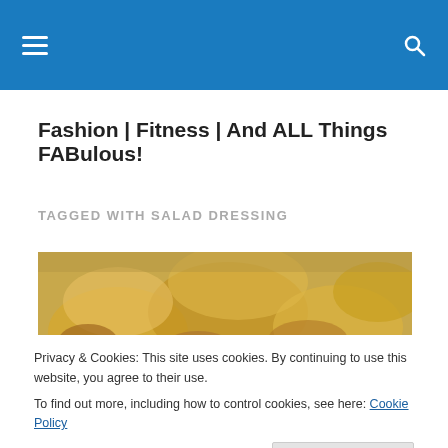Navigation bar with hamburger menu and search icon
Fashion | Fitness | And ALL Things FABulous!
TAGGED WITH SALAD DRESSING
[Figure (photo): Close-up photo of cheesy baked food items, yellowish-brown color]
Privacy & Cookies: This site uses cookies. By continuing to use this website, you agree to their use.
To find out more, including how to control cookies, see here: Cookie Policy
Close and accept